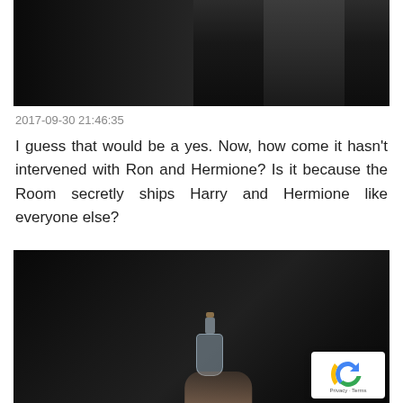[Figure (photo): Dark movie screenshot showing a figure in the background, dimly lit scene]
2017-09-30 21:46:35
I guess that would be a yes. Now, how come it hasn't intervened with Ron and Hermione? Is it because the Room secretly ships Harry and Hermione like everyone else?
[Figure (photo): Dark movie screenshot showing a hand holding a small glass bottle with a cork stopper, dimly lit scene with reCAPTCHA badge in corner]